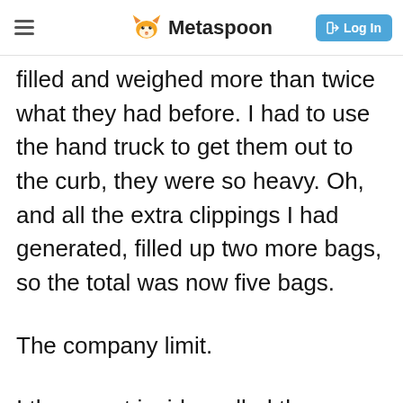Metaspoon
filled and weighed more than twice what they had before. I had to use the hand truck to get them out to the curb, they were so heavy. Oh, and all the extra clippings I had generated, filled up two more bags, so the total was now five bags.
The company limit.
I then went inside, called the company, and very nicely asked that they come